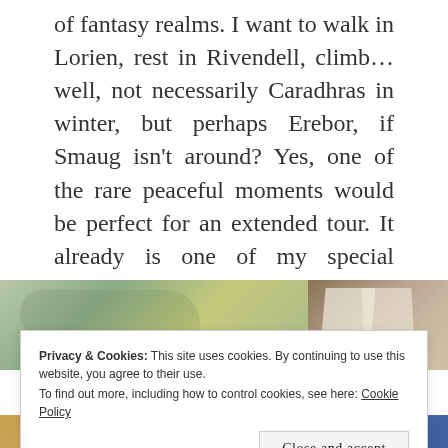of fantasy realms. I want to walk in Lorien, rest in Rivendell, climb… well, not necessarily Caradhras in winter, but perhaps Erebor, if Smaug isn't around? Yes, one of the rare peaceful moments would be perfect for an extended tour. It already is one of my special places, although only ever visited in imagination.
[Figure (photo): Two side-by-side images: left shows a fantasy map with greenish-blue tones and illustrated terrain; right shows an open book with botanical illustrations.]
Privacy & Cookies: This site uses cookies. By continuing to use this website, you agree to their use.
To find out more, including how to control cookies, see here: Cookie Policy
[Figure (photo): Two side-by-side images at the bottom: left shows a warm golden-toned illustration, right shows a blue-toned image.]